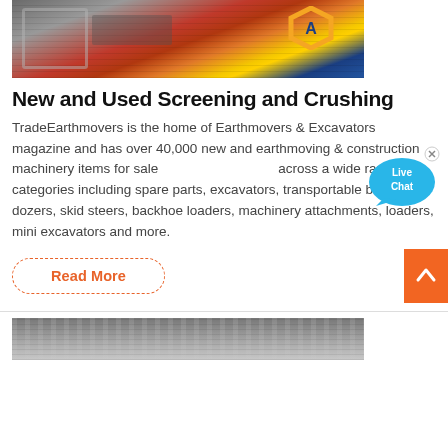[Figure (photo): Industrial screening and crushing machinery with orange hexagon logo, red and blue mechanical parts]
New and Used Screening and Crushing
TradeEarthmovers is the home of Earthmovers & Excavators magazine and has over 40,000 new and earthmoving & construction machinery items for sale across a wide range of categories including spare parts, excavators, transportable buildings, dozers, skid steers, backhoe loaders, machinery attachments, loaders, mini excavators and more.
[Figure (illustration): Live Chat speech bubble icon in blue]
Read More
[Figure (photo): Bottom image of construction machinery or building structure]